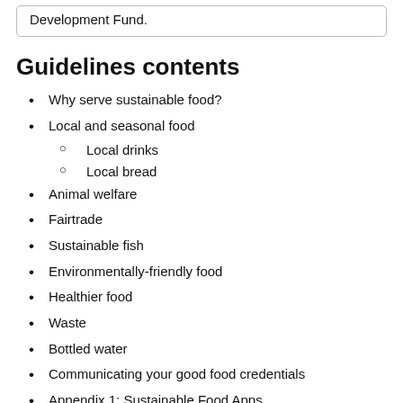Development Fund.
Guidelines contents
Why serve sustainable food?
Local and seasonal food
Local drinks
Local bread
Animal welfare
Fairtrade
Sustainable fish
Environmentally-friendly food
Healthier food
Waste
Bottled water
Communicating your good food credentials
Appendix 1: Sustainable Food Apps
Appendix 2: Useful contacts